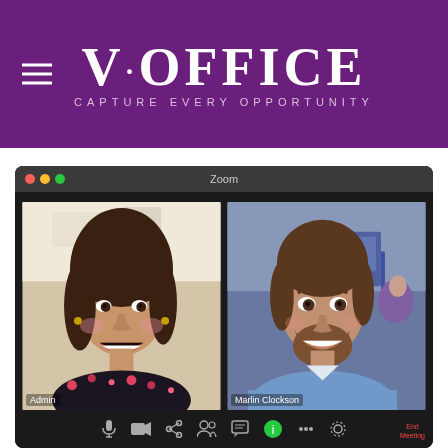[Figure (logo): V·OFFICE logo on purple background with hamburger menu icon on the left. Large white serif text reads 'V·OFFICE' with tagline 'CAPTURE EVERY OPPORTUNITY' in smaller spaced letters below.]
[Figure (screenshot): Screenshot of Zoom video call showing two participants. Left participant labeled 'Admin' is a woman with long dark hair laughing, wearing a dark floral top, in a bright room. Right participant labeled 'Marlin Clockson' is a man with short dark hair and beard, smiling, wearing a light blue shirt in an office setting. The window has macOS-style traffic light buttons and 'Zoom' title. Bottom toolbar shows video call controls including End Meeting button.]